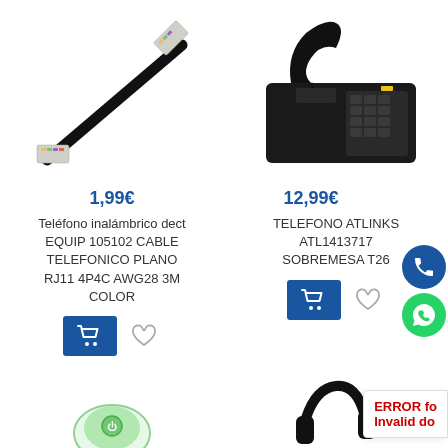[Figure (photo): Black telephone cable with RJ11 connectors on white background]
[Figure (photo): Black Atlinks desktop telephone T26 on white background]
1,99€
Teléfono inalámbrico dect EQUIP 105102 CABLE TELEFONICO PLANO RJ11 4P4C AWG28 3M COLOR
12,99€
TELEFONO ATLINKS ATL1413717 SOBREMESA T26
[Figure (photo): Partial green wireless device at bottom left]
[Figure (photo): Partial black headset/device at bottom right]
ERROR fo Invalid do